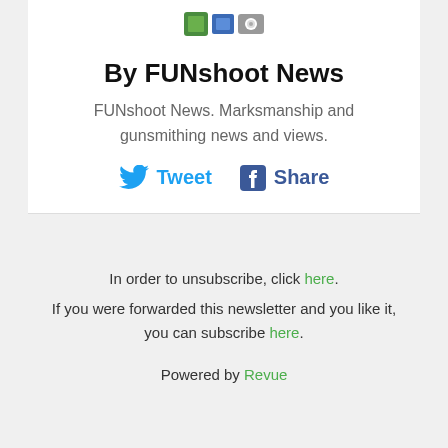[Figure (logo): FUNshoot News logo icons (green/blue shooting target style icons)]
By FUNshoot News
FUNshoot News. Marksmanship and gunsmithing news and views.
[Figure (infographic): Tweet and Share social media buttons (Twitter and Facebook)]
In order to unsubscribe, click here.
If you were forwarded this newsletter and you like it, you can subscribe here.
Powered by Revue